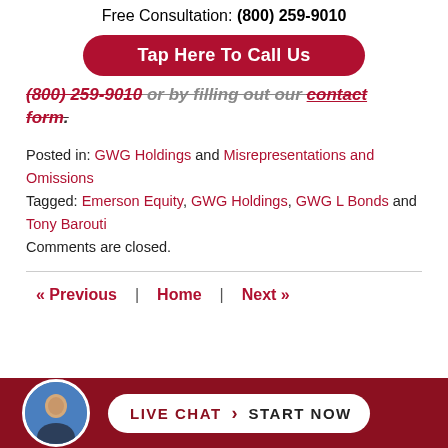Free Consultation: (800) 259-9010
Tap Here To Call Us
(800) 259-9010 or by filling out our contact form.
Posted in: GWG Holdings and Misrepresentations and Omissions
Tagged: Emerson Equity, GWG Holdings, GWG L Bonds and Tony Barouti
Comments are closed.
« Previous | Home | Next »
LIVE CHAT › START NOW